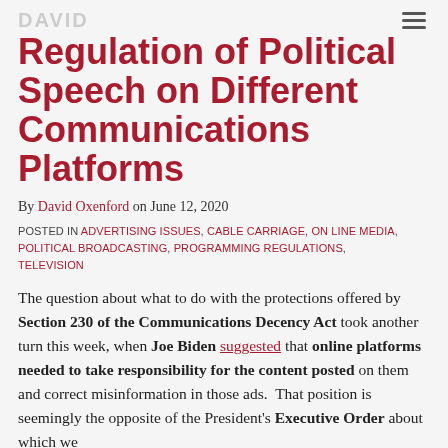Regulation of Political Speech on Different Communications Platforms
By David Oxenford on June 12, 2020
POSTED IN ADVERTISING ISSUES, CABLE CARRIAGE, ON LINE MEDIA, POLITICAL BROADCASTING, PROGRAMMING REGULATIONS, TELEVISION
The question about what to do with the protections offered by Section 230 of the Communications Decency Act took another turn this week, when Joe Biden suggested that online platforms needed to take responsibility for the content posted on them and correct misinformation in those ads. That position is seemingly the opposite of the President's Executive Order about which we